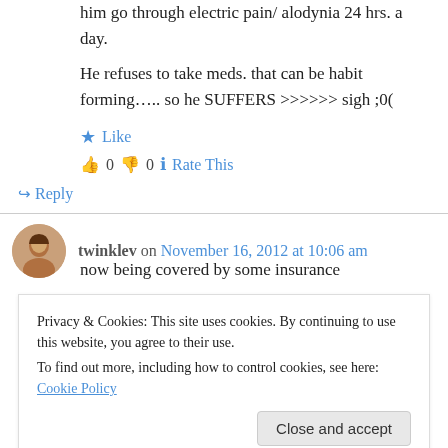him go through electric pain/ alodynia 24 hrs. a day.
He refuses to take meds. that can be habit forming….. so he SUFFERS >>>>>> sigh ;0(
★ Like
👍 0 👎 0 ℹ Rate This
↪ Reply
twinklev on November 16, 2012 at 10:06 am
Privacy & Cookies: This site uses cookies. By continuing to use this website, you agree to their use. To find out more, including how to control cookies, see here: Cookie Policy
Close and accept
now being covered by some insurance